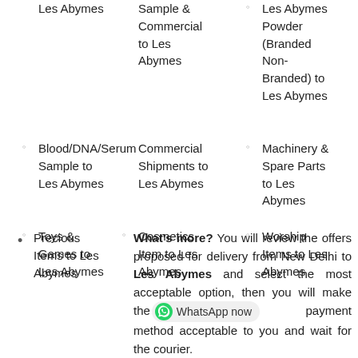Les Abymes
Sample & Commercial to Les Abymes
Les Abymes Powder (Branded Non-Branded) to Les Abymes
Blood/DNA/Serum Sample to Les Abymes
Commercial Shipments to Les Abymes
Machinery & Spare Parts to Les Abymes
Toys & Games to Les Abymes
Cosmetics Item to Les Abymes
Worship Items to Les Abymes
Precious Items to Les Abymes
What's more? You will review the offers proposed for delivery from New Delhi to Les Abymes and select the most acceptable option, then you will make the payment method acceptable to you and wait for the courier.